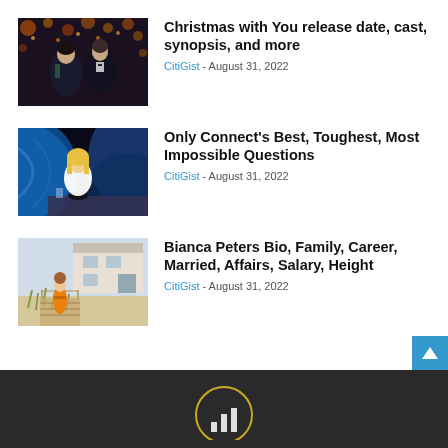[Figure (photo): Two people at a formal event, one in a tuxedo, christmas/party decoration background]
Christmas with You release date, cast, synopsis, and more
CitiGist - August 31, 2022
[Figure (photo): Blonde woman sitting at a TV quiz show desk with blue curved background panels]
Only Connect's Best, Toughest, Most Impossible Questions
CitiGist - August 31, 2022
[Figure (photo): Woman in orange dress standing on a boardwalk path near beach grasses in front of a modern house]
Bianca Peters Bio, Family, Career, Married, Affairs, Salary, Height
CitiGist - August 31, 2022
[Figure (logo): CitiGist logo on dark footer background]